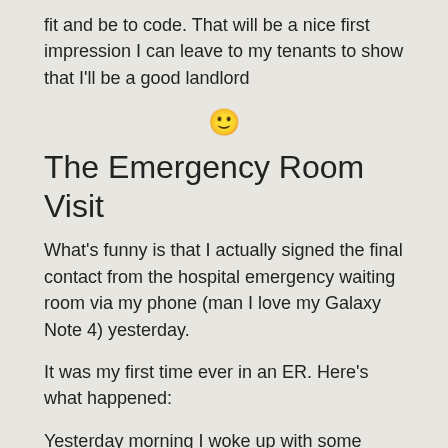fit and be to code. That will be a nice first impression I can leave to my tenants to show that I'll be a good landlord
[Figure (illustration): Smiling face emoji with rosy cheeks]
The Emergency Room Visit
What's funny is that I actually signed the final contact from the hospital emergency waiting room via my phone (man I love my Galaxy Note 4) yesterday.
It was my first time ever in an ER. Here's what happened:
Yesterday morning I woke up with some numbness and tingling down my right arm, from the very top of my arm to my fingers, and affecting the ring and pinkie fingers. At first I figured it was probably just asleep and that I probably just slept on it funny, but the sensation wouldn't